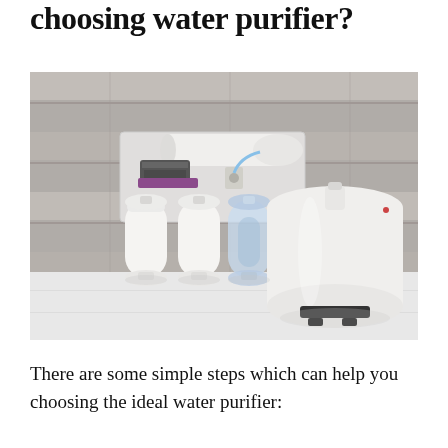choosing water purifier?
[Figure (photo): A reverse osmosis water purifier system with multiple filter housings and a large white pressure tank, mounted against a wood-patterned wall on a white surface.]
There are some simple steps which can help you choosing the ideal water purifier: